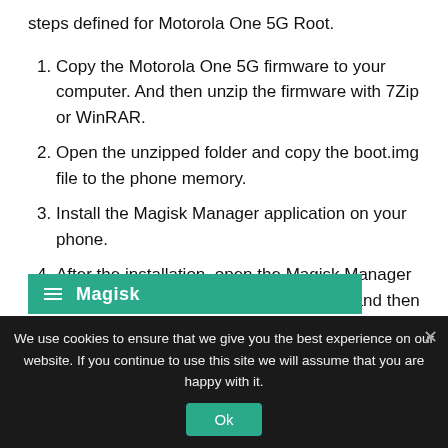steps defined for Motorola One 5G Root.
Copy the Motorola One 5G firmware to your computer. And then unzip the firmware with 7Zip or WinRAR.
Open the unzipped folder and copy the boot.img file to the phone memory.
Install the Magisk Manager application on your phone.
After the installation, open the Magisk Manager application, click on the first installation and then click on Reinstall.
[Figure (screenshot): Teal/green app bar with hamburger menu icon and 'Magisk' label in white text]
We use cookies to ensure that we give you the best experience on our website. If you continue to use this site we will assume that you are happy with it.